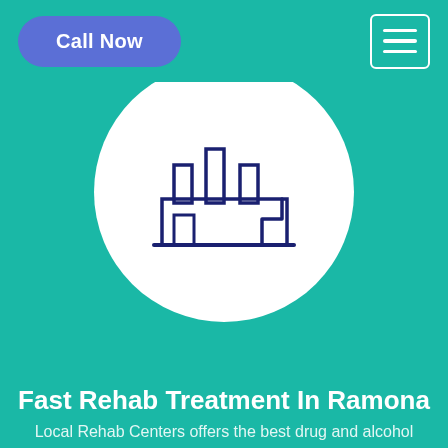Call Now
[Figure (illustration): White circle with dark blue outline icon of a factory/industrial building with smokestacks on a teal background]
Fast Rehab Treatment In Ramona
Local Rehab Centers offers the best drug and alcohol rehabilitation services all over Ramona
[Figure (illustration): White circle with dark blue outline icon of a medical clipboard with a cross symbol, partially visible at bottom of page]